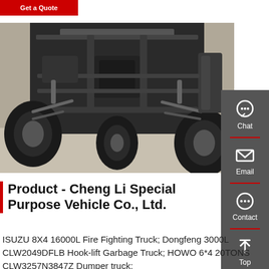[Figure (other): Red 'Get a Quote' button at top left]
[Figure (photo): Undercarriage view of a truck, showing axles, suspension, tires, and mechanical components from below]
[Figure (other): Right sidebar with Chat, Email, Contact, and Top navigation icons on dark gray background]
Product - Cheng Li Special Purpose Vehicle Co., Ltd.
ISUZU 8X4 16000L Fire Fighting Truck; Dongfeng 3000L CLW2049DFLB Hook-lift Garbage Truck; HOWO 6*4 20TONS CLW3257N3847Z Dumper truck;